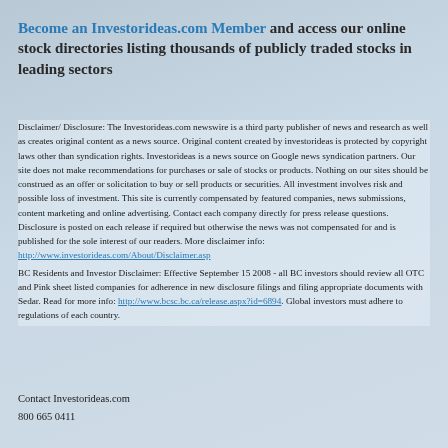Become an Investorideas.com Member and access our online stock directories listing thousands of publicly traded stocks in leading sectors
Disclaimer/ Disclosure: The Investorideas.com newswire is a third party publisher of news and research as well as creates original content as a news source. Original content created by investorideas is protected by copyright laws other than syndication rights. Investorideas is a news source on Google news syndication partners. Our site does not make recommendations for purchases or sale of stocks or products. Nothing on our sites should be construed as an offer or solicitation to buy or sell products or securities. All investment involves risk and possible loss of investment. This site is currently compensated by featured companies, news submissions, content marketing and online advertising. Contact each company directly for press release questions. Disclosure is posted on each release if required but otherwise the news was not compensated for and is published for the sole interest of our readers. More disclaimer info: http://www.investorideas.com/About/Disclaimer.asp BC Residents and Investor Disclaimer: Effective September 15 2008 - all BC investors should review all OTC and Pink sheet listed companies for adherence in new disclosure filings and filing appropriate documents with Sedar. Read for more info: http://www.bcsc.bc.ca/release.aspx?id=6894. Global investors must adhere to regulations of each country.
Contact Investorideas.com
800 665 0411